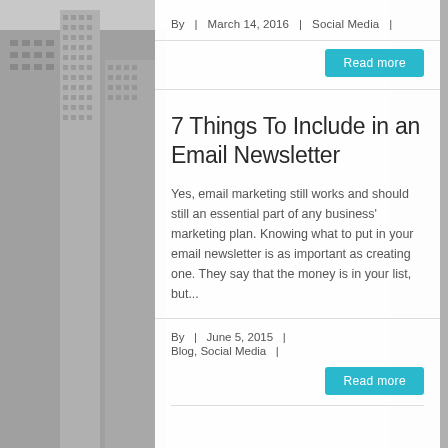[Figure (photo): Black and white aerial photograph of city skyscrapers/buildings flanking a white content panel]
By  |  March 14, 2016  |  Social Media  |
Read more
7 Things To Include in an Email Newsletter
Yes, email marketing still works and should still an essential part of any business' marketing plan. Knowing what to put in your email newsletter is as important as creating one. They say that the money is in your list, but...
By  |  June 5, 2015  |
Blog, Social Media  |
Read more